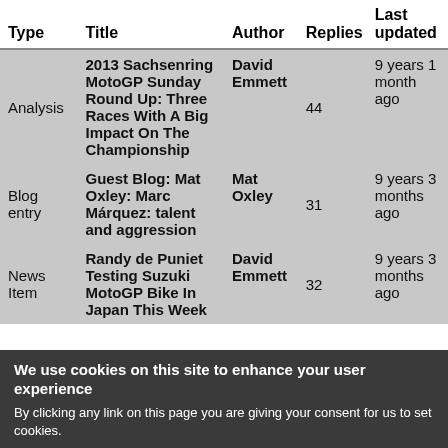| Type | Title | Author | Replies | Last updated |
| --- | --- | --- | --- | --- |
| Analysis | 2013 Sachsenring MotoGP Sunday Round Up: Three Races With A Big Impact On The Championship | David Emmett | 44 | 9 years 1 month ago |
| Blog entry | Guest Blog: Mat Oxley: Marc Márquez: talent and aggression | Mat Oxley | 31 | 9 years 3 months ago |
| News Item | Randy de Puniet Testing Suzuki MotoGP Bike In Japan This Week | David Emmett | 32 | 9 years 3 months ago |
We use cookies on this site to enhance your user experience
By clicking any link on this page you are giving your consent for us to set cookies.